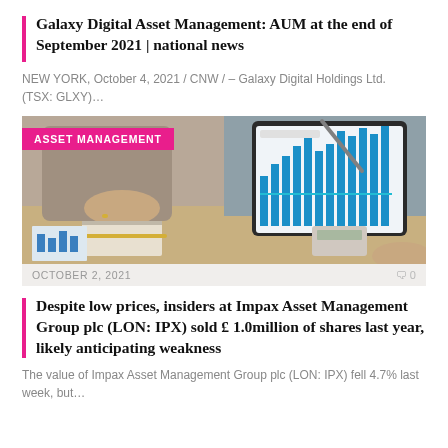Galaxy Digital Asset Management: AUM at the end of September 2021 | national news
NEW YORK, October 4, 2021 / CNW / – Galaxy Digital Holdings Ltd. (TSX: GLXY)…
[Figure (photo): Two people at a desk reviewing financial charts on a tablet and paper documents. A pink badge reads 'ASSET MANAGEMENT'.]
OCTOBER 2, 2021   0 0
Despite low prices, insiders at Impax Asset Management Group plc (LON: IPX) sold £ 1.0million of shares last year, likely anticipating weakness
The value of Impax Asset Management Group plc (LON: IPX) fell 4.7% last week, but…